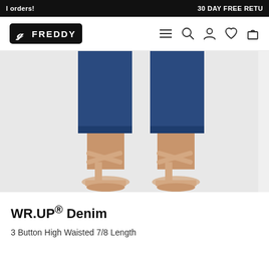l orders!  30 DAY FREE RETU
[Figure (logo): Freddy brand logo — white stylized script letter on black rounded rectangle, with FREDDY text in bold white capitals]
[Figure (photo): Close-up of a person's legs from the knees down wearing dark blue denim cropped/7-8 length jeans and nude cross-strap heeled sandals, against a light grey background]
WR.UP® Denim
3 Button High Waisted 7/8 Length